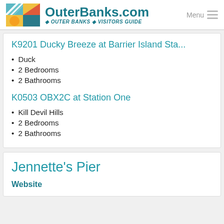OuterBanks.com Visitors Guide — Menu
K9201 Ducky Breeze at Barrier Island Sta...
Duck
2 Bedrooms
2 Bathrooms
K0503 OBX2C at Station One
Kill Devil Hills
2 Bedrooms
2 Bathrooms
Jennette's Pier
Website